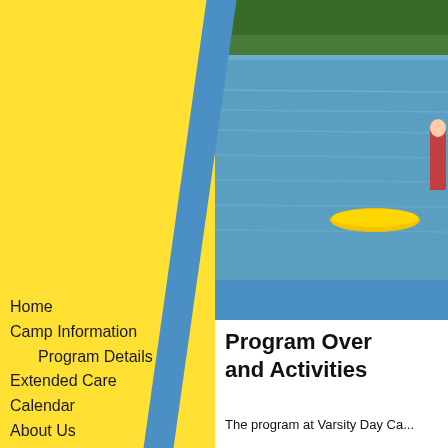[Figure (logo): Varsity Day Camp circular logo with bear head illustration, blue on yellow background]
[Figure (photo): Outdoor lake/water scene with yellow kayak and person in red, trees in background]
Home
Camp Information
Program Details
Extended Care
Calendar
About Us
Rates
Register
Program Overview and Activities
The program at Varsity Day Ca...